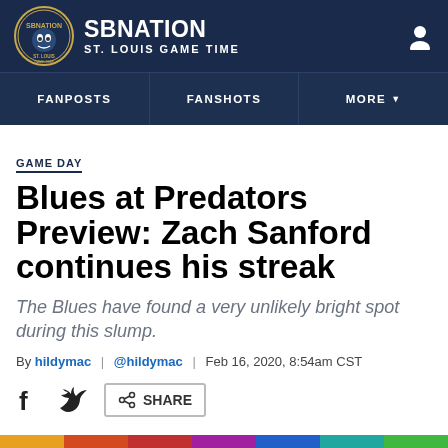SB NATION / ST. LOUIS GAME TIME
FANPOSTS | FANSHOTS | MORE
GAME DAY
Blues at Predators Preview: Zach Sanford continues his streak
The Blues have found a very unlikely bright spot during this slump.
By hildymac | @hildymac | Feb 16, 2020, 8:54am CST